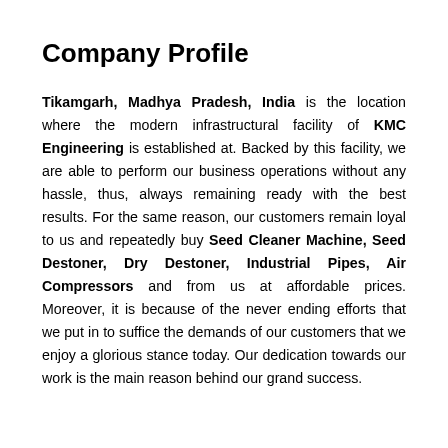Company Profile
Tikamgarh, Madhya Pradesh, India is the location where the modern infrastructural facility of KMC Engineering is established at. Backed by this facility, we are able to perform our business operations without any hassle, thus, always remaining ready with the best results. For the same reason, our customers remain loyal to us and repeatedly buy Seed Cleaner Machine, Seed Destoner, Dry Destoner, Industrial Pipes, Air Compressors and from us at affordable prices. Moreover, it is because of the never ending efforts that we put in to suffice the demands of our customers that we enjoy a glorious stance today. Our dedication towards our work is the main reason behind our grand success.